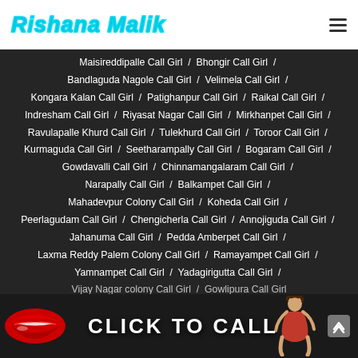Rishana Malik
Maisireddipalle Call Girl / Bhongir Call Girl / Bandlaguda Nagole Call Girl / Velimela Call Girl / Kongara Kalan Call Girl / Patighanpur Call Girl / Raikal Call Girl / Indresham Call Girl / Riyasat Nagar Call Girl / Mirkhanpet Call Girl / Ravulapalle Khurd Call Girl / Tulekhurd Call Girl / Toroor Call Girl / Kurmaguda Call Girl / Seetharampally Call Girl / Bogaram Call Girl / Gowdavalli Call Girl / Chinnamangalaram Call Girl / Narapally Call Girl / Balkampet Call Girl / Mahadevpur Colony Call Girl / Koheda Call Girl / Peerlagudam Call Girl / Chengicherla Call Girl / Annojiguda Call Girl / Jahanuma Call Girl / Pedda Amberpet Call Girl / Laxma Reddy Palem Colony Call Girl / Ramayampet Call Girl / Yamnampet Call Girl / Yadagirigutta Call Girl / Vijay Nagar colony Call Girl / Gowlipura Call Girl
[Figure (infographic): CLICK TO CALL banner with red lips graphic on left and woman figure on right, scroll-up button on far right]